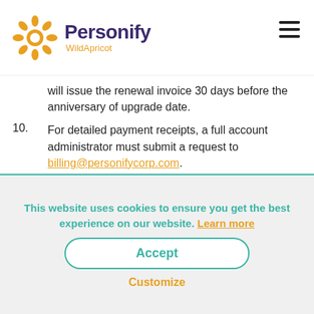Personify WildApricot
will issue the renewal invoice 30 days before the anniversary of upgrade date.
10. For detailed payment receipts, a full account administrator must submit a request to billing@personifycorp.com.
11. If your account is in arrears, you will be notified in one the following ways:
Message displayed in your Admin Dashboard to
This website uses cookies to ensure you get the best experience on our website. Learn more
Accept
Customize